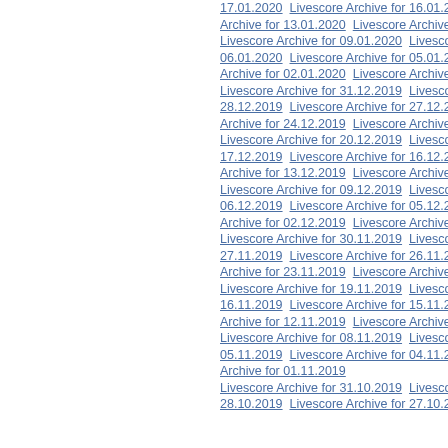17.01.2020  Livescore Archive for 16.01.2020  Livescore Archive for 13.01.2020  Livescore Archive for 09.01.2020  Livescore 06.01.2020  Livescore Archive for 05.01.2020  Livescore Archive for 02.01.2020  Livescore Archive for Livescore Archive for 31.12.2019  Livescore 28.12.2019  Livescore Archive for 27.12.2019  Livescore Archive for 24.12.2019  Livescore Archive for Livescore Archive for 20.12.2019  Livescore 17.12.2019  Livescore Archive for 16.12.2019  Livescore Archive for 13.12.2019  Livescore Archive for Livescore Archive for 09.12.2019  Livescore 06.12.2019  Livescore Archive for 05.12.2019  Livescore Archive for 02.12.2019  Livescore Archive for Livescore Archive for 30.11.2019  Livescore 27.11.2019  Livescore Archive for 26.11.2019  Livescore Archive for 23.11.2019  Livescore Archive for Livescore Archive for 19.11.2019  Livescore 16.11.2019  Livescore Archive for 15.11.2019  Livescore Archive for 12.11.2019  Livescore Archive for Livescore Archive for 08.11.2019  Livescore 05.11.2019  Livescore Archive for 04.11.2019  Livescore Archive for 01.11.2019  Livescore Archive for 31.10.2019  Livescore 28.10.2019  Livescore Archive for 27.10.2019